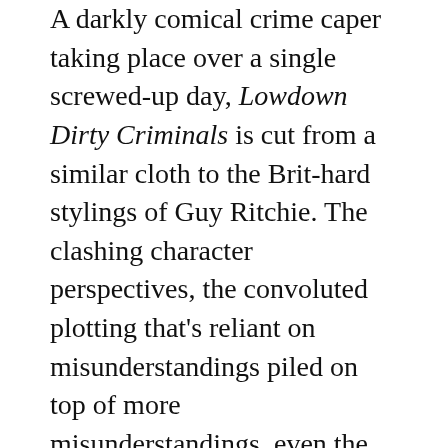A darkly comical crime caper taking place over a single screwed-up day, Lowdown Dirty Criminals is cut from a similar cloth to the Brit-hard stylings of Guy Ritchie. The clashing character perspectives, the convoluted plotting that's reliant on misunderstandings piled on top of more misunderstandings, even the magnetic personalities of the cast; without feeling entirely derivative, it makes use of a lot of what made Ritchie's better outings so aggressively watchable.
Part of that is down to David Brechin-Smith's writing, which maintains a well-postured balance between black comedy and crime grit, but a lot of it is because of